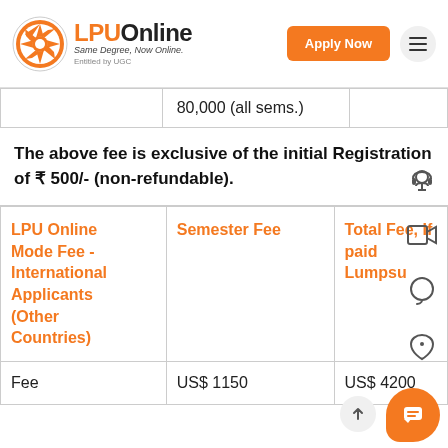[Figure (logo): LPUOnline logo with circular emblem and tagline 'Same Degree, Now Online. Entitled by UGC']
|  | 80,000 (all sems.) |  |
The above fee is exclusive of the initial Registration of ₹ 500/- (non-refundable).
| LPU Online Mode Fee - International Applicants (Other Countries) | Semester Fee | Total Fee, If paid Lumpsu... |
| --- | --- | --- |
| Fee | US$ 1150 | US$ 4200 |